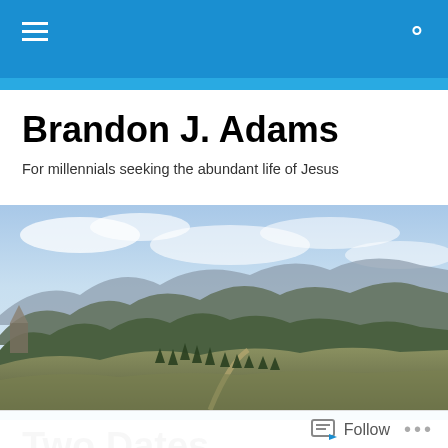Brandon J. Adams — navigation header with hamburger menu and search icon
Brandon J. Adams
For millennials seeking the abundant life of Jesus
[Figure (photo): Panoramic mountain landscape photo showing rolling forested hills, rocky ridgelines, evergreen trees, a trail, and a partly cloudy blue sky]
Two Dates
Follow ...